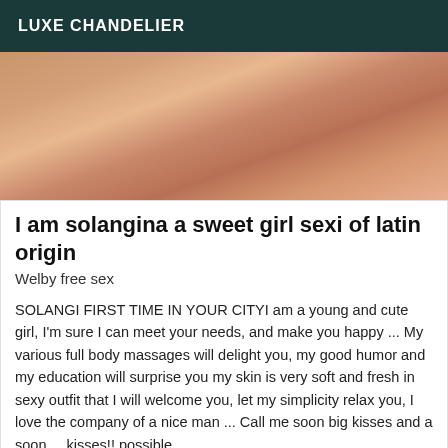LUXE CHANDELIER
[Figure (photo): Close-up photograph of skin tones in warm peach and brown hues]
I am solangina a sweet girl sexi of latin origin
Welby free sex
SOLANGI FIRST TIME IN YOUR CITYI am a young and cute girl, I'm sure I can meet your needs, and make you happy ... My various full body massages will delight you, my good humor and my education will surprise you my skin is very soft and fresh in sexy outfit that I will welcome you, let my simplicity relax you, I love the company of a nice man ... Call me soon big kisses and a soon ... kisses!! possible